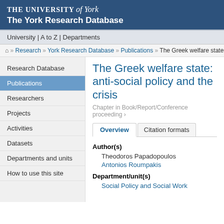The University of York — The York Research Database
University | A to Z | Departments
⌂ » Research » York Research Database » Publications » The Greek welfare state in...
Research Database
Publications
Researchers
Projects
Activities
Datasets
Departments and units
How to use this site
The Greek welfare state: anti-social policy and the crisis
Chapter in Book/Report/Conference proceeding ›
Overview | Citation formats
Author(s)
Theodoros Papadopoulos
Antonios Roumpakis
Department/unit(s)
Social Policy and Social Work